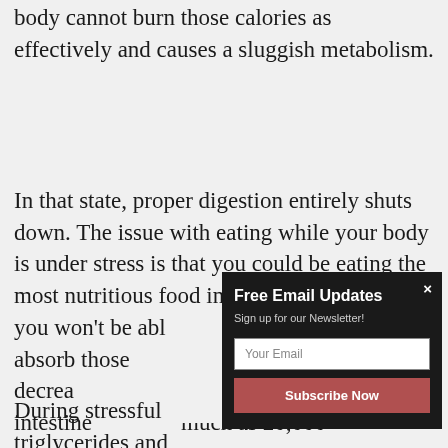body cannot burn those calories as effectively and causes a sluggish metabolism.
In that state, proper digestion entirely shuts down. The issue with eating while your body is under stress is that you could be eating the most nutritious food in the world, however you won't be abl[e to properly diges]t and absorb those [nutrients because] there is a decrea[se in blood flow] in your intestine[s by] as much as 20,000[%].
[Figure (other): Email newsletter signup popup overlay with dark background, titled 'Free Email Updates', subtitle 'Sign up for our Newsletter!', an email input field, and a 'Subscribe Now' button.]
During stressful [times, the body releases] triglycerides and[...]